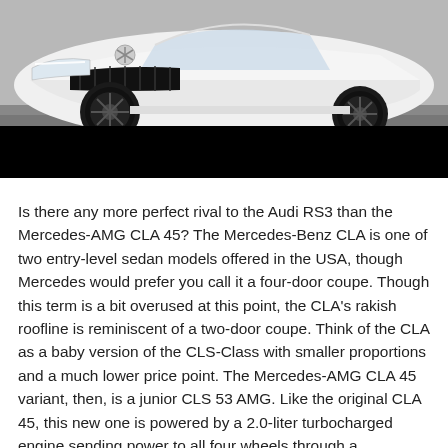[Figure (photo): Front three-quarter view of a white Mercedes-AMG CLA 45 with AMG Panamericana grille and dark alloy wheels, photographed in a parking area. The lower portion of the image is covered by a black bar.]
Is there any more perfect rival to the Audi RS3 than the Mercedes-AMG CLA 45? The Mercedes-Benz CLA is one of two entry-level sedan models offered in the USA, though Mercedes would prefer you call it a four-door coupe. Though this term is a bit overused at this point, the CLA's rakish roofline is reminiscent of a two-door coupe. Think of the CLA as a baby version of the CLS-Class with smaller proportions and a much lower price point. The Mercedes-AMG CLA 45 variant, then, is a junior CLS 53 AMG. Like the original CLA 45, this new one is powered by a 2.0-liter turbocharged engine sending power to all four wheels through a